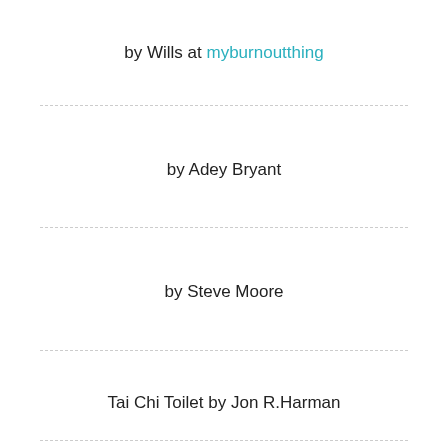by Wills at myburnoutthing
by Adey Bryant
by Steve Moore
Tai Chi Toilet by Jon R.Harman